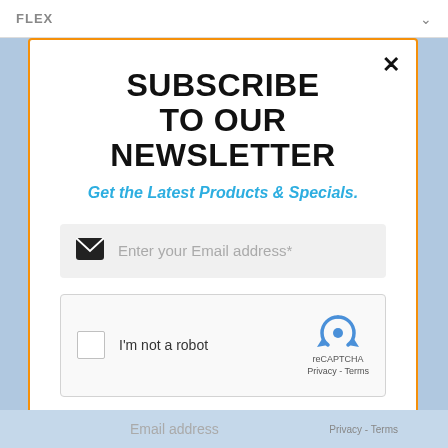FLEX
SUBSCRIBE TO OUR NEWSLETTER
Get the Latest Products & Specials.
Enter your Email address*
[Figure (other): reCAPTCHA widget with checkbox labeled I'm not a robot]
SUBSCRIBE
Email address  Privacy - Terms